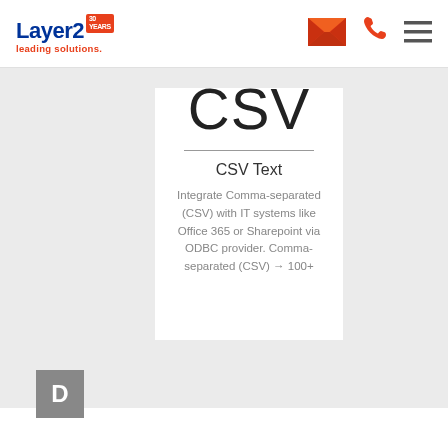[Figure (logo): Layer2 logo with '30 YEARS' badge and tagline 'leading solutions.']
[Figure (illustration): Orange email envelope icon in header]
[Figure (illustration): Orange phone handset icon in header]
[Figure (illustration): Hamburger menu icon in header]
CSV
CSV Text
Integrate Comma-separated (CSV) with IT systems like Office 365 or Sharepoint via ODBC provider. Comma-separated (CSV) → 100+
[Figure (other): Dark grey square with white letter D]